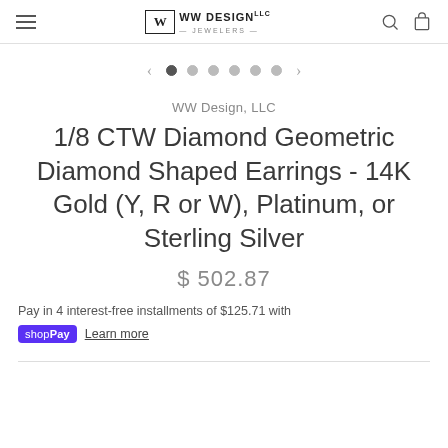WW Design, LLC
[Figure (screenshot): Carousel navigation dots: left arrow, one filled dot (active), five empty dots, right arrow]
WW Design, LLC
1/8 CTW Diamond Geometric Diamond Shaped Earrings - 14K Gold (Y, R or W), Platinum, or Sterling Silver
$ 502.87
Pay in 4 interest-free installments of $125.71 with
shop Pay  Learn more